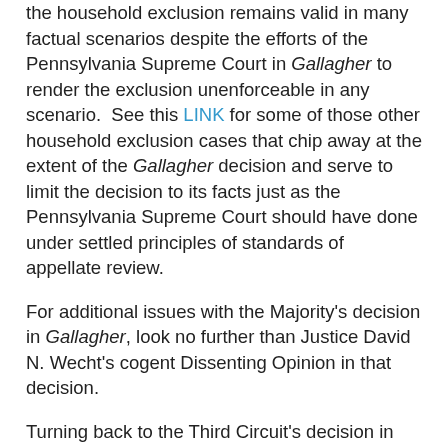the household exclusion remains valid in many factual scenarios despite the efforts of the Pennsylvania Supreme Court in Gallagher to render the exclusion unenforceable in any scenario.  See this LINK for some of those other household exclusion cases that chip away at the extent of the Gallagher decision and serve to limit the decision to its facts just as the Pennsylvania Supreme Court should have done under settled principles of standards of appellate review.
For additional issues with the Majority's decision in Gallagher, look no further than Justice David N. Wecht's cogent Dissenting Opinion in that decision.
Turning back to the Third Circuit's decision in Dunleavy, in its reference to the fact that the injured parties did not pay a premium for the extra coverage that they were seeking as constituting further support for the application of the household exclusion, the Dunleavy Court was also supporting the age old adage that you can't get something for nothing.  In other words, if the injured party did not pay a premium for the type of additional UIM coverage they are seeking, then they should not be able to recover it.